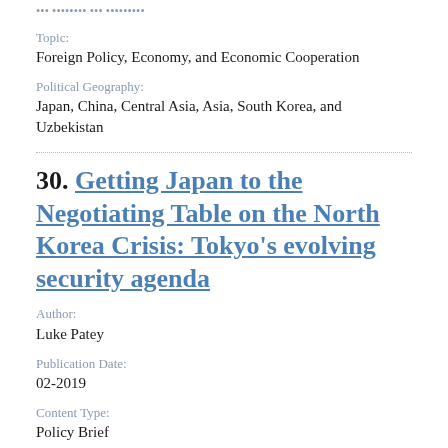Topic:
Foreign Policy, Economy, and Economic Cooperation
Political Geography:
Japan, China, Central Asia, Asia, South Korea, and Uzbekistan
30. Getting Japan to the Negotiating Table on the North Korea Crisis: Tokyo's evolving security agenda
Author:
Luke Patey
Publication Date:
02-2019
Content Type:
Policy Brief
Institution: